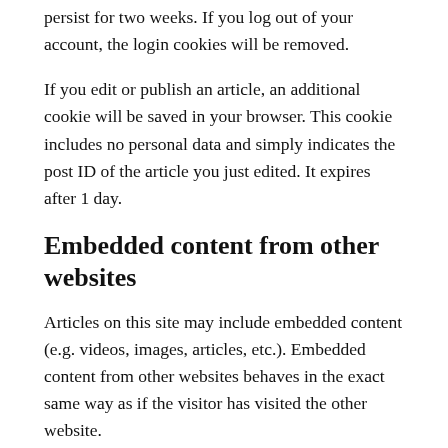persist for two weeks. If you log out of your account, the login cookies will be removed.
If you edit or publish an article, an additional cookie will be saved in your browser. This cookie includes no personal data and simply indicates the post ID of the article you just edited. It expires after 1 day.
Embedded content from other websites
Articles on this site may include embedded content (e.g. videos, images, articles, etc.). Embedded content from other websites behaves in the exact same way as if the visitor has visited the other website.
These websites may collect data about you, use cookies, embed additional third-party tracking, and monitor your interaction with that embedded content, including tracing